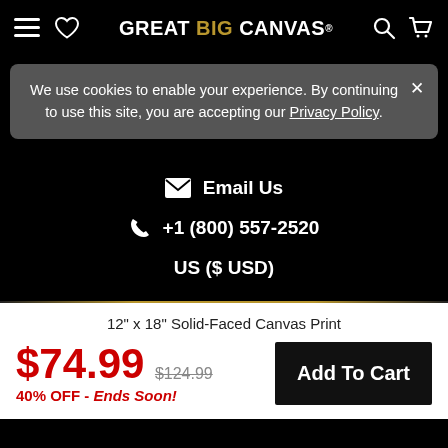GREAT BIG CANVAS
We use cookies to enable your experience. By continuing to use this site, you are accepting our Privacy Policy.
Email Us
+1 (800) 557-2520
US ($ USD)
12" x 18" Solid-Faced Canvas Print
$74.99  $124.99  40% OFF - Ends Soon!  Add To Cart